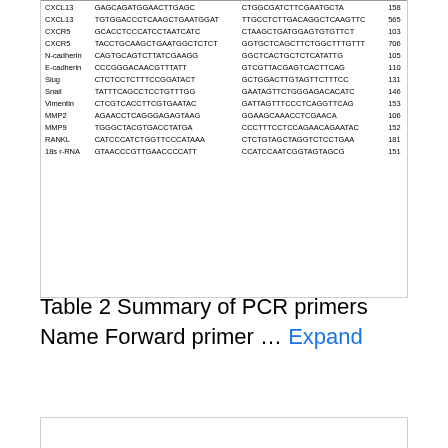| Name | Forward primer | Reverse primer | Size |
| --- | --- | --- | --- |
| CXCL13 | GAGCAGATGGAACTTGAGC | CTGGCGATCTTCGAATGCTA | 158 |
| CXCL13 | TGTGGACCCTCAAGCTGAATGGAT | TTGCCTCTTGACAGGCTCAAGTTC | 565 |
| CXCR5 | GCACCTCCCATCCTAATCATC | CTAAGCTGATGGAGTGTGTTCT | 103 |
| CXCR5 | TACCTGCAAGCTGAATGGCTCTCT | GGTGCTCAGCTTCTGGCTTTGTTT | 706 |
| N-cadherin | CAGTGCAGTCTTATCGAAGG | GGCTCACTGCTCTCATATTG | 105 |
| E-cadherin | CCCGGGACAACGTTTATT | GTCGTTACGAGTCACTTCAG | 110 |
| Slug | CTCTCCTCTTTCCGGATACT | GCTGGACTTGTAGTTCTTTCC | 131 |
| Snail | TATTTCAGCCTCCTGTTTGG | GAATAGTTCTGGGAGACACATC | 146 |
| Vimentin | CTCGTCACCTTCGTGAATAC | GATTAGTTTCCCTCAGGTTCAG | 153 |
| MMP2 | AGAACCTCAGGGAGAGTAAG | GGAAGCAAACCTCGAACA | 106 |
| MMP9 | TGGGCTACGTGACCTATGA | CCCTTTCCTCCAGAACAGAATAC | 152 |
| RANKL | CATCCCATCTGGTTCCCATAAA | CTCTGTAGCTAGGTCTCCTGAA | 181 |
| 18s r-RNA | GTAACCCGTTGAACCCCATT | CCATCCAATCGGTAGTAGCG | 151 |
Table 2 Summary of PCR primers Name Forward primer … Expand